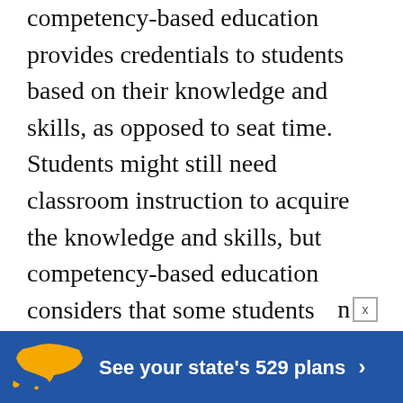competency-based education provides credentials to students based on their knowledge and skills, as opposed to seat time. Students might still need classroom instruction to acquire the knowledge and skills, but competency-based education considers that some students might obtain the knowledge and skills through other means, such as in the workforce or through bootcamps.
The proposals will create a pathway for federal student aid eligibility for competency-based education programs. They... n in
[Figure (infographic): Advertisement banner with blue background, yellow US map outline, text 'See your state's 529 plans >' in white bold font, and a close (x) button above.]